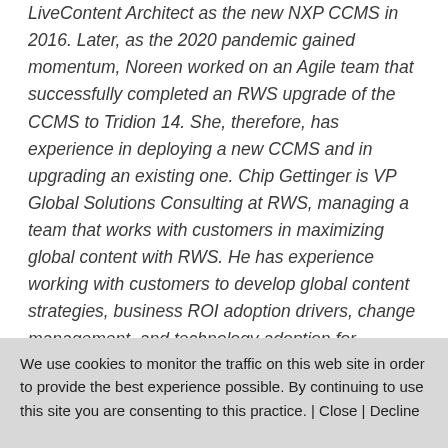LiveContent Architect as the new NXP CCMS in 2016. Later, as the 2020 pandemic gained momentum, Noreen worked on an Agile team that successfully completed an RWS upgrade of the CCMS to Tridion 14. She, therefore, has experience in deploying a new CCMS and in upgrading an existing one. Chip Gettinger is VP Global Solutions Consulting at RWS, managing a team that works with customers in maximizing global content with RWS. He has experience working with customers to develop global content strategies, business ROI adoption drivers, change management, and technology adoption for component content management systems. He speaks and blogs about customer successes working closely with
We use cookies to monitor the traffic on this web site in order to provide the best experience possible. By continuing to use this site you are consenting to this practice. | Close | Decline